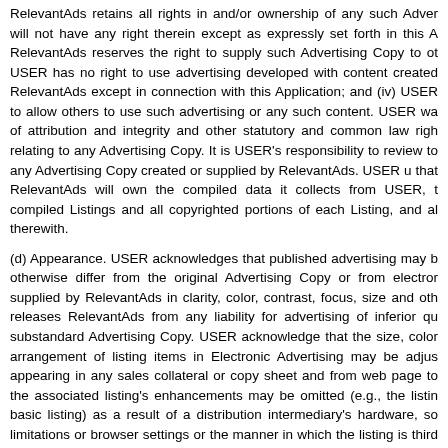RelevantAds retains all rights in and/or ownership of any such Adver will not have any right therein except as expressly set forth in this A RelevantAds reserves the right to supply such Advertising Copy to ot USER has no right to use advertising developed with content created RelevantAds except in connection with this Application; and (iv) USER to allow others to use such advertising or any such content. USER wa of attribution and integrity and other statutory and common law righ relating to any Advertising Copy. It is USER's responsibility to review to any Advertising Copy created or supplied by RelevantAds. USER u that RelevantAds will own the compiled data it collects from USER, t compiled Listings and all copyrighted portions of each Listing, and al therewith.
(d) Appearance. USER acknowledges that published advertising may b otherwise differ from the original Advertising Copy or from electror supplied by RelevantAds in clarity, color, contrast, focus, size and oth releases RelevantAds from any liability for advertising of inferior qu substandard Advertising Copy. USER acknowledge that the size, color arrangement of listing items in Electronic Advertising may be adjus appearing in any sales collateral or copy sheet and from web page to the associated listing's enhancements may be omitted (e.g., the listin basic listing) as a result of a distribution intermediary's hardware, so limitations or browser settings or the manner in which the listing is third party distribution intermediary prior to its display to the viewe
(e) Distribution. USER agrees to RelevantAds's distribution of the